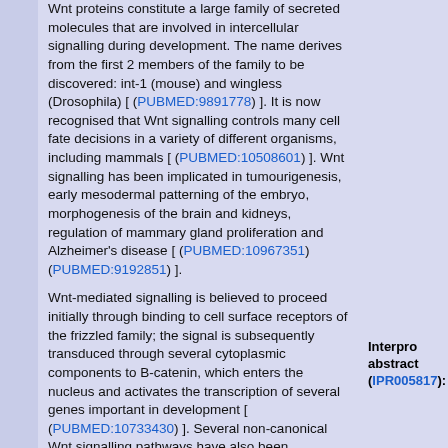Wnt proteins constitute a large family of secreted molecules that are involved in intercellular signalling during development. The name derives from the first 2 members of the family to be discovered: int-1 (mouse) and wingless (Drosophila) [ (PUBMED:9891778) ]. It is now recognised that Wnt signalling controls many cell fate decisions in a variety of different organisms, including mammals [ (PUBMED:10508601) ]. Wnt signalling has been implicated in tumourigenesis, early mesodermal patterning of the embryo, morphogenesis of the brain and kidneys, regulation of mammary gland proliferation and Alzheimer's disease [ (PUBMED:10967351) (PUBMED:9192851) ].
Wnt-mediated signalling is believed to proceed initially through binding to cell surface receptors of the frizzled family; the signal is subsequently transduced through several cytoplasmic components to B-catenin, which enters the nucleus and activates the transcription of several genes important in development [ (PUBMED:10733430) ]. Several non-canonical Wnt signalling pathways have also been elucidated that act independently of B-catenin. Canonical and noncanonical Wnt signaling branches are highly interconnected, and cross-regulate each other [ (PUBMED:21536746) ].
Interpro abstract (IPR005817):
Members of the Wnt gene family are defined by their sequence similarity to mouse Wnt-1 and Wingless in Drosophila. They encode proteins of ~350-400 residues in length, with orthologues identified in several, mostly vertebrate, species. Very little is known about the structure of Wnts as they are notoriously insoluble, but they share the following features characteristics of secretory proteins: a signal peptide, several potential N-glycosylation sites and